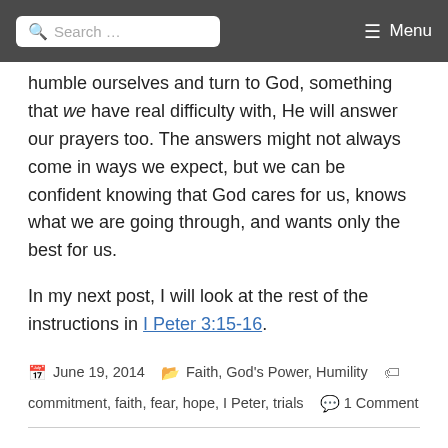Search ... Menu
humble ourselves and turn to God, something that we have real difficulty with, He will answer our prayers too. The answers might not always come in ways we expect, but we can be confident knowing that God cares for us, knows what we are going through, and wants only the best for us.
In my next post, I will look at the rest of the instructions in I Peter 3:15-16.
June 19, 2014   Faith, God's Power, Humility   commitment, faith, fear, hope, I Peter, trials   1 Comment